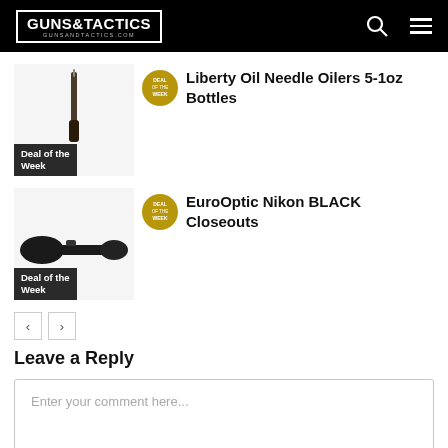GUNS&TACTICS GUNSANDTACTICS.COM
[Figure (screenshot): Deal card: Liberty Oil Needle Oilers 5-1oz Bottles with 'Deal of the Week' badge and thumbnail image of oil needle]
Liberty Oil Needle Oilers 5-1oz Bottles
[Figure (screenshot): Deal card: EuroOptic Nikon BLACK Closeouts with 'Deal of the Week' badge and thumbnail image of rifle scope]
EuroOptic Nikon BLACK Closeouts
< >
Leave a Reply
Enter your comment here...